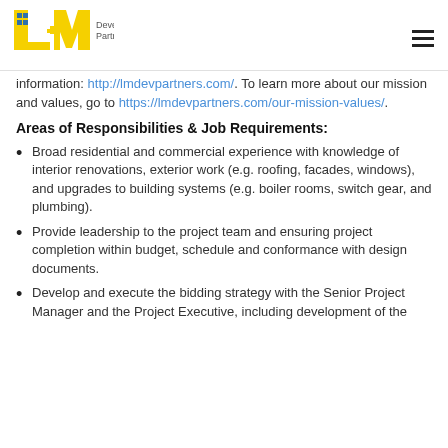[Figure (logo): L+M Development Partners logo with yellow L and M letters and blue grid squares, followed by 'Development Partners' text]
information: http://lmdevpartners.com/. To learn more about our mission and values, go to https://lmdevpartners.com/our-mission-values/.
Areas of Responsibilities & Job Requirements:
Broad residential and commercial experience with knowledge of interior renovations, exterior work (e.g. roofing, facades, windows), and upgrades to building systems (e.g. boiler rooms, switch gear, and plumbing).
Provide leadership to the project team and ensuring project completion within budget, schedule and conformance with design documents.
Develop and execute the bidding strategy with the Senior Project Manager and the Project Executive, including development of the project scope, schedule, and leveling, negotiating, and awarding general contractor and/or trade contractors.